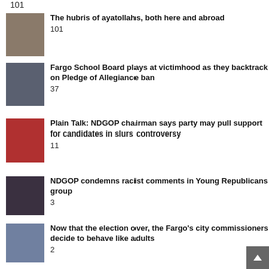101
The hubris of ayatollahs, both here and abroad
101
Fargo School Board plays at victimhood as they backtrack on Pledge of Allegiance ban
37
Plain Talk: NDGOP chairman says party may pull support for candidates in slurs controversy
11
NDGOP condemns racist comments in Young Republicans group
3
Now that the election over, the Fargo's city commissioners decide to behave like adults
2